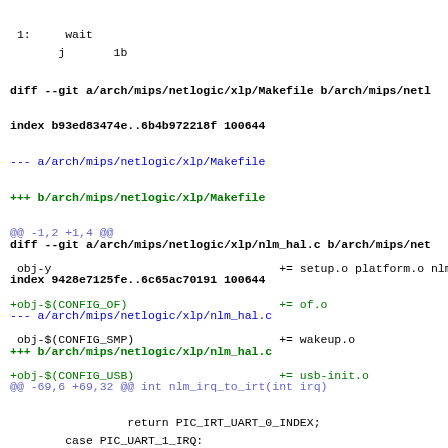1:     wait
       j       1b
diff --git a/arch/mips/netlogic/xlp/Makefile b/arch/mips/netl
index b93ed83474e..6b4b972218f 100644
--- a/arch/mips/netlogic/xlp/Makefile
+++ b/arch/mips/netlogic/xlp/Makefile
@@ -1,2 +1,4 @@
 obj-y                                    += setup.o platform.o nlm_hal
+obj-$(CONFIG_OF)                         += of.o
 obj-$(CONFIG_SMP)                        += wakeup.o
+obj-$(CONFIG_USB)                        += usb-init.o
diff --git a/arch/mips/netlogic/xlp/nlm_hal.c b/arch/mips/net
index 9428e7125fe..6c65ac70191 100644
--- a/arch/mips/netlogic/xlp/nlm_hal.c
+++ b/arch/mips/netlogic/xlp/nlm_hal.c
@@ -69,6 +69,32 @@ int nlm_irq_to_irt(int irq)
                     return PIC_IRT_UART_0_INDEX;
         case PIC_UART_1_IRQ:
                     return PIC_IRT_UART_1_INDEX;
+        case PIC_PCIE_LINK_0_IRQ:
+                    return PIC_IRT_PCIE_LINK_0_INDEX;
+        case PIC_PCIE_LINK_1_IRQ:
+                    return PIC_IRT_PCIE_LINK_1_INDEX;